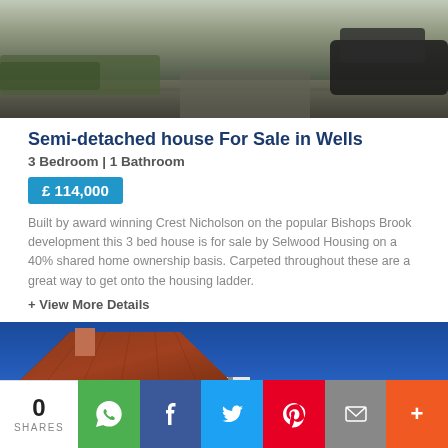[Figure (photo): Top portion of semi-detached house exterior showing driveway and parked car]
Semi-detached house For Sale in Wells
3 Bedroom | 1 Bathroom
£ 114,000
Built by award winning Crest Nicholson on the popular Bishops Brook development this 3 bed house is for sale by Selwood Housing on a 40% shared home ownership basis. Carpeted throughout these are a great way to get onto the housing ladder.
+ View More Details
[Figure (photo): House exterior showing red tiled roof against blue sky]
0 SHARES with social share buttons: WhatsApp, Facebook, Twitter, Pinterest, Email, More